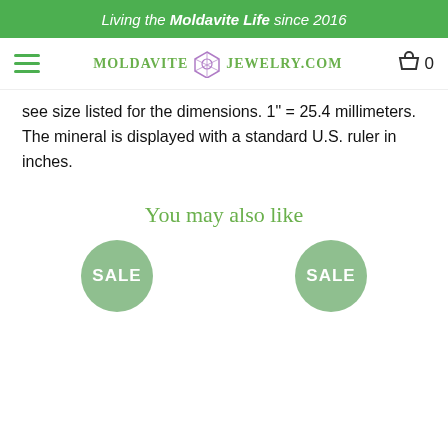Living the Moldavite Life since 2016
[Figure (logo): MoldaviteJewelry.com logo with hamburger menu and cart icon showing 0 items]
see size listed for the dimensions. 1" = 25.4 millimeters. The mineral is displayed with a standard U.S. ruler in inches.
You may also like
[Figure (other): SALE badge circle (left)]
[Figure (other): SALE badge circle (right)]